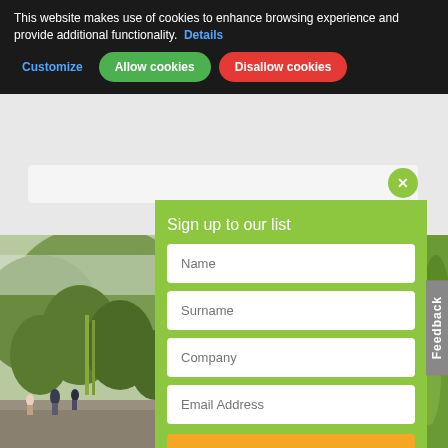This website makes use of cookies to enhance browsing experience and provide additional functionality. Details
Customize | Allow cookies | Disallow cookies
[Figure (photo): Outdoor nature photo showing lush green forested hillside with fog/mist, with people visible on a stone structure or walkway in the foreground.]
Sign up to our list
Name
Surname
Company
Email Address
Subscribe
Feedback